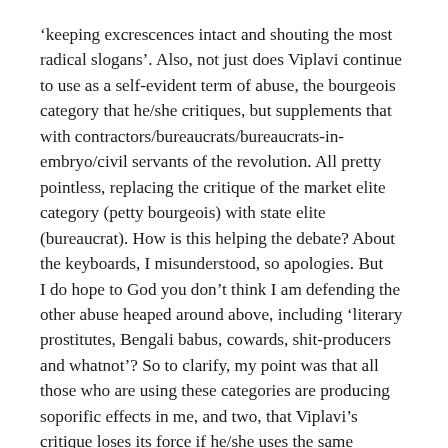‘keeping excrescences intact and shouting the most radical slogans’. Also, not just does Viplavi continue to use as a self-evident term of abuse, the bourgeois category that he/she critiques, but supplements that with contractors/bureaucrats/bureaucrats-in-embryo/civil servants of the revolution. All pretty pointless, replacing the critique of the market elite category (petty bourgeois) with state elite (bureaucrat). How is this helping the debate? About the keyboards, I misunderstood, so apologies. But
I do hope to God you don’t think I am defending the other abuse heaped around above, including ‘literary prostitutes, Bengali babus, cowards, shit-producers and whatnot’? So to clarify, my point was that all those who are using these categories are producing soporific effects in me, and two, that Viplavi’s critique loses its force if he/she uses the same category of abuse as those that are criticised.